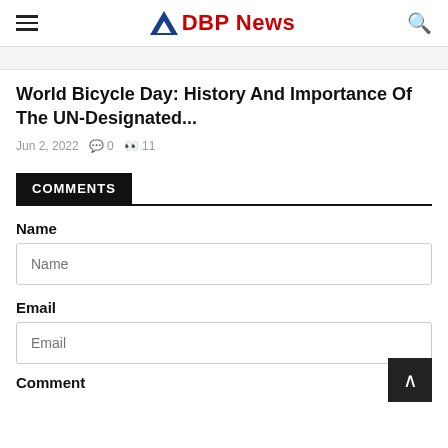DBP News
World Bicycle Day: History And Importance Of The UN-Designated...
Jun 2, 2022  0  11
COMMENTS
Name
Email
Comment